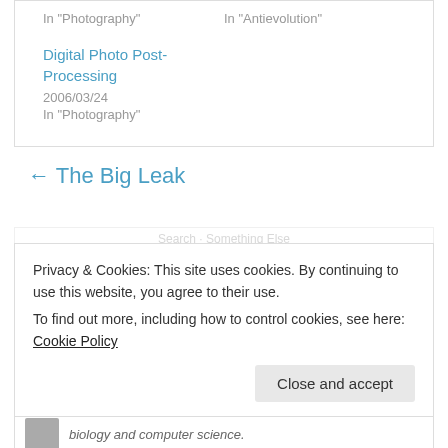In "Photography"
In "Antievolution"
Digital Photo Post-Processing
2006/03/24
In "Photography"
← The Big Leak
Privacy & Cookies: This site uses cookies. By continuing to use this website, you agree to their use.
To find out more, including how to control cookies, see here: Cookie Policy
Close and accept
biology and computer science.